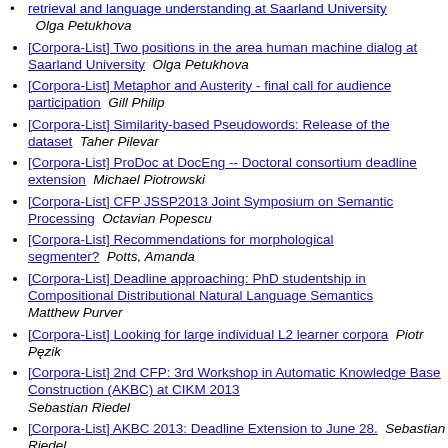retrieval and language understanding at Saarland University  Olga Petukhova
[Corpora-List] Two positions in the area human machine dialog at Saarland University  Olga Petukhova
[Corpora-List] Metaphor and Austerity - final call for audience participation  Gill Philip
[Corpora-List] Similarity-based Pseudowords: Release of the dataset  Taher Pilevar
[Corpora-List] ProDoc at DocEng -- Doctoral consortium deadline extension  Michael Piotrowski
[Corpora-List] CFP JSSP2013 Joint Symposium on Semantic Processing  Octavian Popescu
[Corpora-List] Recommendations for morphological segmenter?  Potts, Amanda
[Corpora-List] Deadline approaching: PhD studentship in Compositional Distributional Natural Language Semantics  Matthew Purver
[Corpora-List] Looking for large individual L2 learner corpora  Piotr Pęzik
[Corpora-List] 2nd CFP: 3rd Workshop in Automatic Knowledge Base Construction (AKBC) at CIKM 2013  Sebastian Riedel
[Corpora-List] AKBC 2013: Deadline Extension to June 28.  Sebastian Riedel
[Corpora-List] Postdoctoral fellowship in speech communication and human-robot interaction in rehabilitation